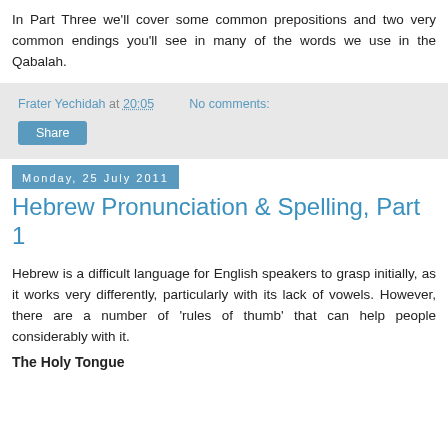In Part Three we'll cover some common prepositions and two very common endings you'll see in many of the words we use in the Qabalah.
Frater Yechidah at 20:05   No comments:
Share
Monday, 25 July 2011
Hebrew Pronunciation & Spelling, Part 1
Hebrew is a difficult language for English speakers to grasp initially, as it works very differently, particularly with its lack of vowels. However, there are a number of 'rules of thumb' that can help people considerably with it.
The Holy Tongue